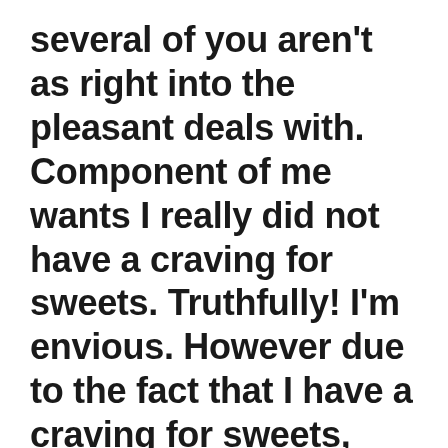several of you aren't as right into the pleasant deals with. Component of me wants I really did not have a craving for sweets. Truthfully! I'm envious. However due to the fact that I have a craving for sweets, Knott's Summer Nights makes certain to offer help for that as they have a gelato cookie wish, a